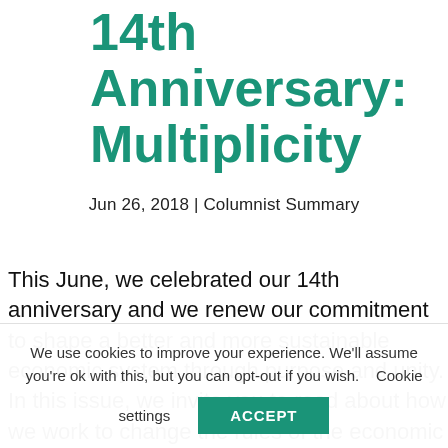14th Anniversary: Multiplicity
Jun 26, 2018 | Columnist Summary
This June, we celebrated our 14th anniversary and we renew our commitment to shape a better and more sustainable economic system through purpose and unity. In this issue, we invite you to read about how we work to change the rules of the economic system to prevent future victims, the official announcement about our newly elected Chairman of the Global Network, the launch of Brazilian 4.0 – a future-ready programme to help
We use cookies to improve your experience. We'll assume you're ok with this, but you can opt-out if you wish. Cookie settings ACCEPT